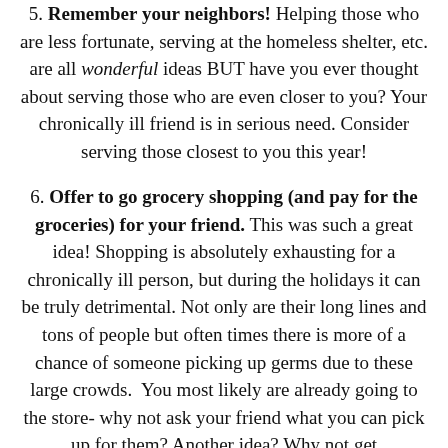5. Remember your neighbors! Helping those who are less fortunate, serving at the homeless shelter, etc. are all wonderful ideas BUT have you ever thought about serving those who are even closer to you? Your chronically ill friend is in serious need. Consider serving those closest to you this year!
6. Offer to go grocery shopping (and pay for the groceries) for your friend. This was such a great idea! Shopping is absolutely exhausting for a chronically ill person, but during the holidays it can be truly detrimental. Not only are their long lines and tons of people but often times there is more of a chance of someone picking up germs due to these large crowds. You most likely are already going to the store- why not ask your friend what you can pick up for them? Another idea? Why not get